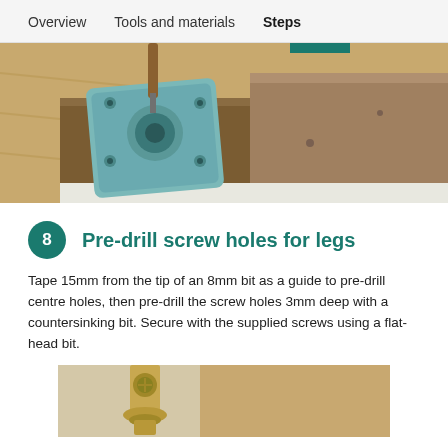Overview   Tools and materials   Steps
[Figure (photo): Close-up photo of a metal furniture leg bracket being installed onto a wooden board, showing a teal/blue metal plate with a central socket and surrounding screw holes, set on a wood surface.]
8  Pre-drill screw holes for legs
Tape 15mm from the tip of an 8mm bit as a guide to pre-drill centre holes, then pre-drill the screw holes 3mm deep with a countersinking bit. Secure with the supplied screws using a flat-head bit.
[Figure (photo): Partial photo showing a decorative brass or gold-toned furniture leg/castor being attached to a wooden board, viewed from below.]